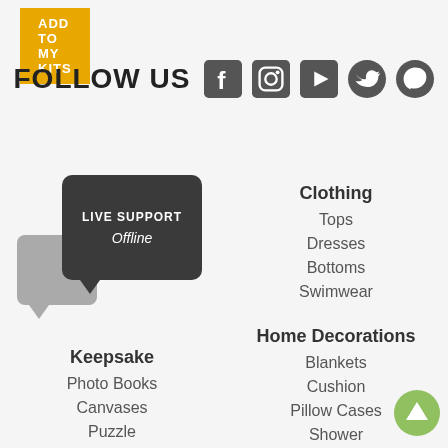[Figure (other): ADD TO MY KITS yellow button]
[Figure (other): FOLLOW US section with social media icons: Facebook, Instagram, YouTube, Twitter, Pinterest]
[Figure (other): Live Support Offline chat widget - dark speech bubble]
Clothing
Tops
Dresses
Bottoms
Swimwear
Keepsake
Photo Books
Canvases
Puzzle
Stationery
Home Decorations
Blankets
Cushion
Pillow Cases
Shower
[Figure (other): Scroll to top green circle arrow button]